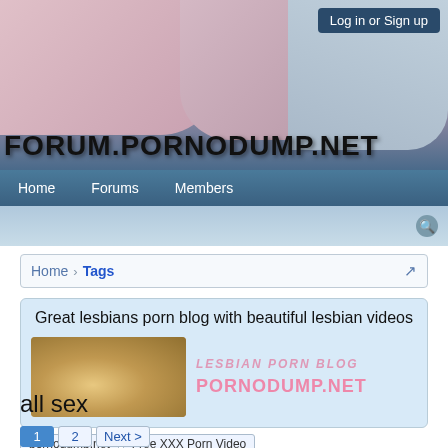[Figure (screenshot): Forum banner header with adult content images and FORUM.PORNODUMP.NET text logo]
Log in or Sign up
Home  Forums  Members
Home > Tags
Great lesbians porn blog with beautiful lesbian videos
[Figure (photo): Lesbian porn blog banner image with text LESBIAN PORN BLOG and PORNODUMP.NET]
pornodump.net   Free XXX Porn Video
all sex
1  2  Next >